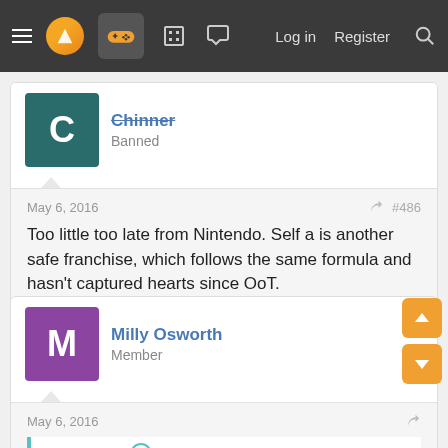[Figure (screenshot): Forum navigation bar with hamburger menu, logo, controller icon, building icon, chat icon, Log in, Register, and search links on dark background]
Chinner
Banned
May 6, 2016
#486
Too little too late from Nintendo. Self a is another safe franchise, which follows the same formula and hasn't captured hearts since OoT.

Witcher 3 is this generations OoT, in terms of impact.
Milly Osworth
Member
May 6, 2016
Chinner said: